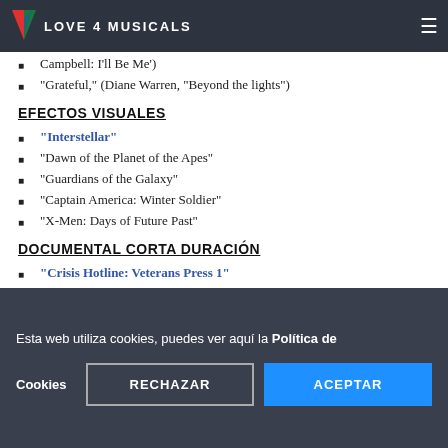LOVE 4 MUSICALS
Campbell: I'll Be Me')
"Grateful," (Diane Warren, "Beyond the lights")
EFECTOS VISUALES
"Interstellar"
"Dawn of the Planet of the Apes"
"Guardians of the Galaxy"
"Captain America: Winter Soldier"
"X-Men: Days of Future Past"
DOCUMENTAL CORTA DURACIÓN
"Crisis Hotline: Veterans Press 1"
"Icaros"
Esta web utiliza cookies, puedes ver aquí la Política de Cookies
RECHAZAR
ACEPTAR